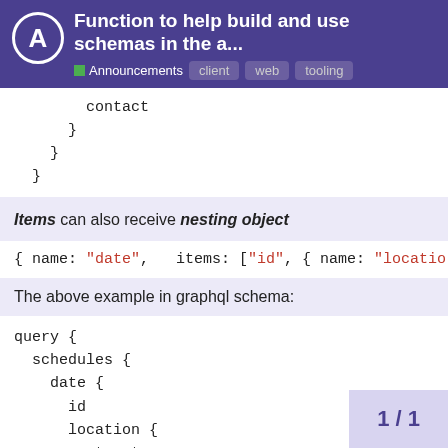Function to help build and use schemas in the a... | Announcements client web tooling
contact
    }
  }
}
Items can also receive nesting object
{ name: "date",  items: ["id", { name: "locatio
The above example in graphql schema:
query {
  schedules {
    date {
      id
      location {
        street
        house